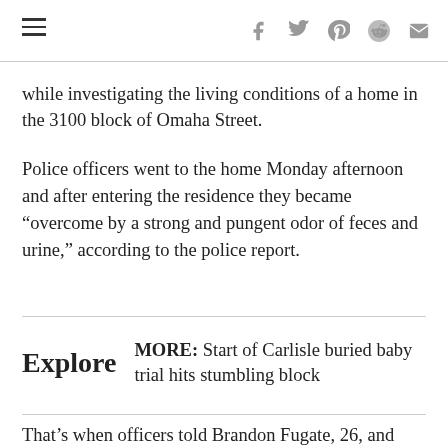hamburger menu and social sharing icons (f, twitter, pinterest, reddit, mail)
while investigating the living conditions of a home in the 3100 block of Omaha Street.
Police officers went to the home Monday afternoon and after entering the residence they became “overcome by a strong and pungent odor of feces and urine,” according to the police report.
MORE: Start of Carlisle buried baby trial hits stumbling block
That’s when officers told Brandon Fugate, 26, and